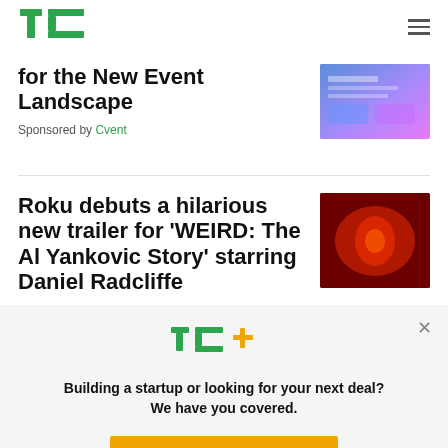TechCrunch
for the New Event Landscape
Sponsored by Cvent
Roku debuts a hilarious new trailer for ‘WEIRD: The Al Yankovic Story’ starring Daniel Radcliffe
[Figure (infographic): TechCrunch Plus promotional overlay with TC+ logo, tagline 'Building a startup or looking for your next deal? We have you covered.' and EXPLORE NOW button]
Building a startup or looking for your next deal? We have you covered.